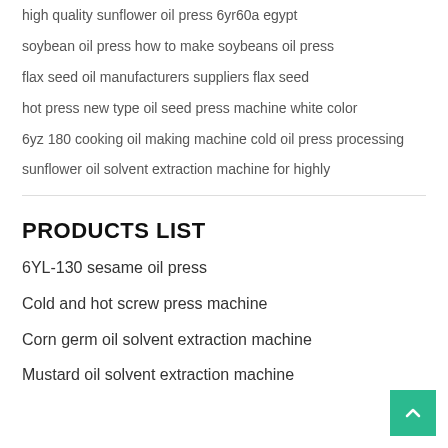high quality sunflower oil press 6yr60a egypt
soybean oil press how to make soybeans oil press
flax seed oil manufacturers suppliers flax seed
hot press new type oil seed press machine white color
6yz 180 cooking oil making machine cold oil press processing
sunflower oil solvent extraction machine for highly
PRODUCTS LIST
6YL-130 sesame oil press
Cold and hot screw press machine
Corn germ oil solvent extraction machine
Mustard oil solvent extraction machine